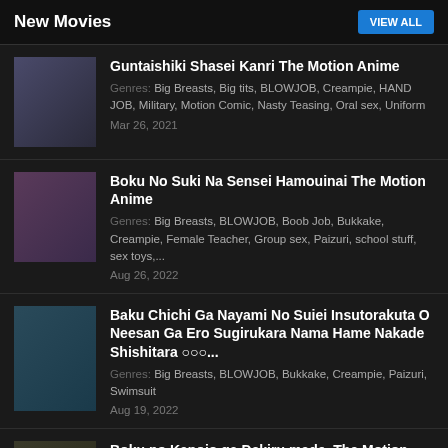New Movies  VIEW ALL
Guntaishiki Shasei Kanri The Motion Anime
Genres: Big Breasts, Big tits, BLOWJOB, Creampie, HAND JOB, Military, Motion Comic, Nasty Teasing, Oral sex, Uniform
Mar 26, 2021
Boku No Suki Na Sensei Hamouinai The Motion Anime
Genres: Big Breasts, BLOWJOB, Boob Job, Bukkake, Creampie, Female Teacher, Group sex, Paizuri, school stuff, sex toys,...
Aug 26, 2022
Baku Chichi Ga Nayami No Suiei Insutorakuta O Neesan Ga Ero Sugirukara Nama Hame Nakade Shishitara ○○○...
Genres: Big Breasts, BLOWJOB, Bukkake, Creampie, Paizuri, Swimsuit
Aug 19, 2022
Boku no Kanojo ga Dekiru made. The Motion Anime
Genres: Big Breasts, BLOWJOB, Boob Job, Creampie, Motion Comic,